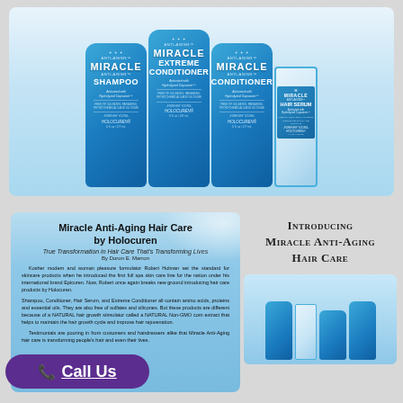[Figure (photo): Four Miracle Anti-Aging hair care products on a blue gradient background: Shampoo tube, Extreme Conditioner tube, Conditioner tube, and Hair Serum spray bottle, all in blue packaging with white text.]
[Figure (photo): Article section with light blue background titled 'Miracle Anti-Aging Hair Care by Holocuren' with subtitle 'True Transformation in Hair Care That's Transforming Lives' by Doron E. Marron, with body text about the product line.]
Miracle Anti-Aging Hair Care by Holocuren
True Transformation in Hair Care That's Transforming Lives
By Doron E. Marron
Kosher modern and woman pleasure formulator Robert Holman set the standard for skincare products when he introduced the first full spa skin care line for the nation under his international brand Epicuren. Now, Robert once again breaks new ground introducing hair care products by Holocuren. Shampoo, Conditioner, Hair Serum, and Extreme Conditioner all contain amino acids, proteins and essential oils. They are also free of sulfates and silicones. But these products are different because of a NATURAL hair growth stimulator called a NATURAL Non-GMO corn extract that helps to maintain the hair growth cycle and improve hair rejuvenation. Testimonials are pouring in from customers and hairdressers alike that Miracle Anti-Aging hair care is transforming people's hair and even their lives.
Call Us
INTRODUCING
MIRACLE ANTI-AGING
HAIR CARE
[Figure (photo): Small promotional image showing three Miracle Anti-Aging hair care product bottles on a blue gradient background.]